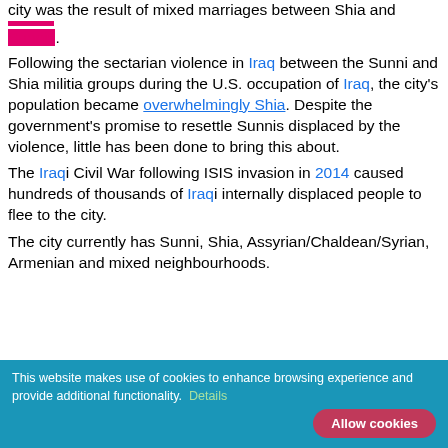city was the result of mixed marriages between Shia and Sunnis.
Following the sectarian violence in Iraq between the Sunni and Shia militia groups during the U.S. occupation of Iraq, the city's population became overwhelmingly Shia. Despite the government's promise to resettle Sunnis displaced by the violence, little has been done to bring this about.
The Iraqi Civil War following ISIS invasion in 2014 caused hundreds of thousands of Iraqi internally displaced people to flee to the city.
The city currently has Sunni, Shia, Assyrian/Chaldean/Syrian, Armenian and mixed neighbourhoods.
This website makes use of cookies to enhance browsing experience and provide additional functionality. Details